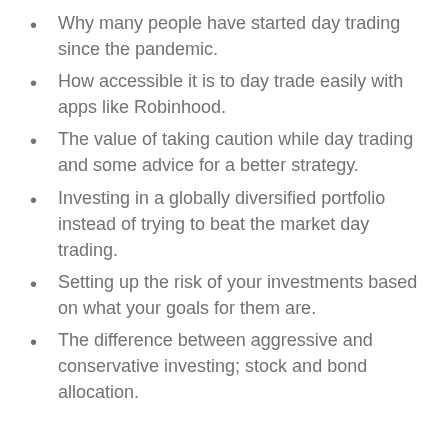Why many people have started day trading since the pandemic.
How accessible it is to day trade easily with apps like Robinhood.
The value of taking caution while day trading and some advice for a better strategy.
Investing in a globally diversified portfolio instead of trying to beat the market day trading.
Setting up the risk of your investments based on what your goals for them are.
The difference between aggressive and conservative investing; stock and bond allocation.